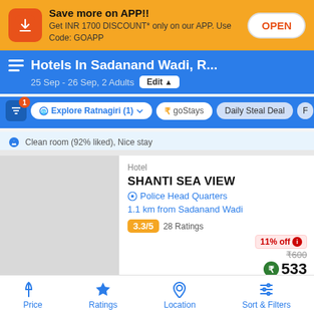Save more on APP!! Get INR 1700 DISCOUNT* only on our APP. Use Code: GOAPP
Hotels In Sadanand Wadi, R...
25 Sep - 26 Sep, 2 Adults  Edit
Explore Ratnagiri (1)  goStays  Daily Steal Deal
Clean room (92% liked), Nice stay
Hotel
SHANTI SEA VIEW
Police Head Quarters
1.1 km from Sadanand Wadi
3.3/5  28 Ratings
11% off  ₹600  ₹533
Price  Ratings  Location  Sort & Filters